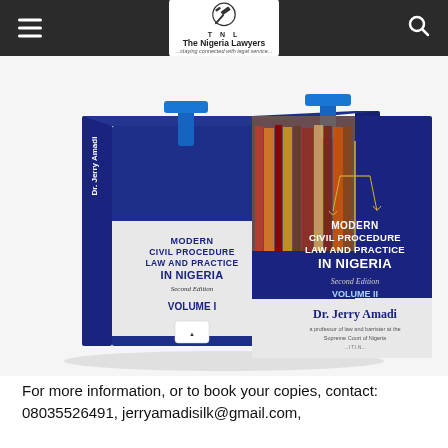The Nigeria Lawyers — staying connected with legal service
[Figure (photo): Two volumes of the book 'Modern Civil Procedure Law and Practice in Nigeria, Second Edition' by Dr. Jerry Amadi, shown as physical books standing upright with blue covers, Volume I on the left and Volume II on the right, with a scales of justice visible on the right book cover.]
For more information, or to book your copies, contact: 08035526491, jerryamadisilk@gmail.com,